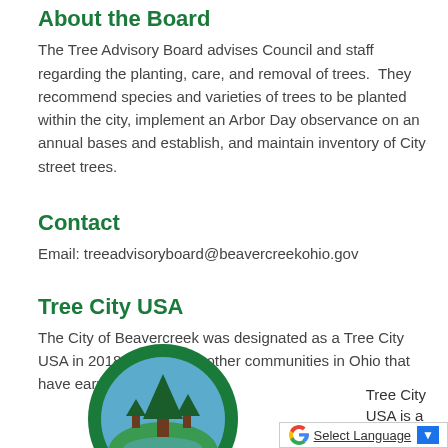About the Board
The Tree Advisory Board advises Council and staff regarding the planting, care, and removal of trees.  They recommend species and varieties of trees to be planted within the city, implement an Arbor Day observance on an annual bases and establish, and maintain inventory of City street trees.
Contact
Email: treeadvisoryboard@beavercreekohio.gov
Tree City USA
The City of Beavercreek was designated as a Tree City USA in 2018, joining 241 other communities in Ohio that have earned this distinction.
[Figure (logo): Tree City USA circular green logo with tree and landscape illustration]
Tree City USA is a
[Figure (other): Google Translate language selector bar at bottom right]